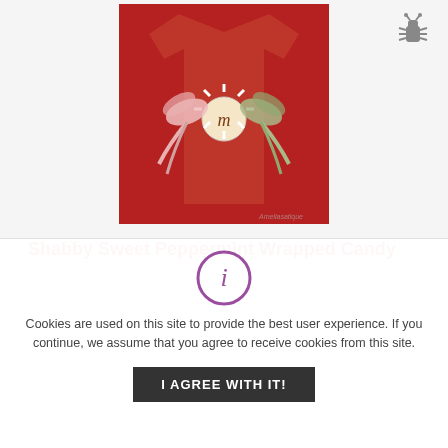[Figure (photo): Red children's shirt with decorative peppermint candy and bow embellishments, with a watermark reading 'Ameliasatique']
Shabby Sweet Peppermint Wrapped Candy
Cookies are used on this site to provide the best user experience. If you continue, we assume that you agree to receive cookies from this site.
I AGREE WITH IT!